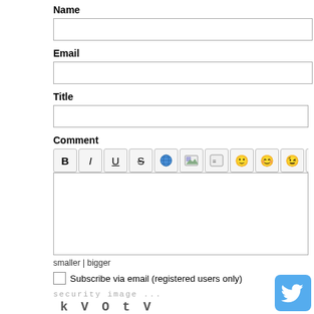Name
[Figure (other): Text input field for Name]
Email
[Figure (other): Text input field for Email]
Title
[Figure (other): Text input field for Title]
Comment
[Figure (other): Comment editor toolbar with B, I, U, S, globe, image, quote, and emoji buttons]
[Figure (other): Comment textarea (empty)]
smaller | bigger
Subscribe via email (registered users only)
security image ...
k V O t V
Write the displayed characters
[Figure (other): Text input field for CAPTCHA answer]
[Figure (logo): Twitter bird logo badge (blue rounded square)]